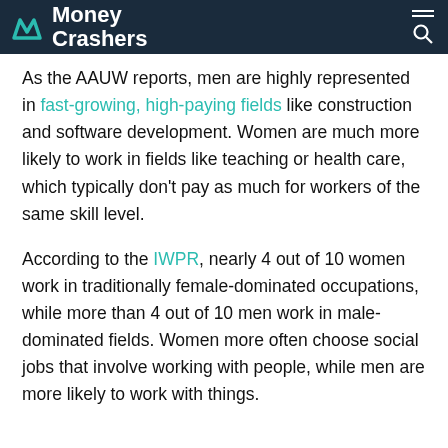Money Crashers
As the AAUW reports, men are highly represented in fast-growing, high-paying fields like construction and software development. Women are much more likely to work in fields like teaching or health care, which typically don't pay as much for workers of the same skill level.
According to the IWPR, nearly 4 out of 10 women work in traditionally female-dominated occupations, while more than 4 out of 10 men work in male-dominated fields. Women more often choose social jobs that involve working with people, while men are more likely to work with things.